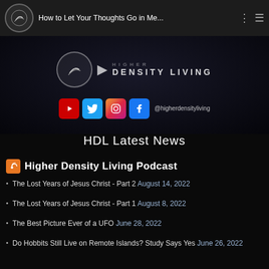How to Let Your Thoughts Go in Me...
[Figure (logo): Higher Density Living podcast logo with play button and social media icons (YouTube, Twitter, Instagram, Facebook) and @higherdensityliving handle]
HDL Latest News
Higher Density Living Podcast
The Lost Years of Jesus Christ - Part 2 August 14, 2022
The Lost Years of Jesus Christ - Part 1 August 8, 2022
The Best Picture Ever of a UFO June 28, 2022
Do Hobbits Still Live on Remote Islands? Study Says Yes June 26, 2022